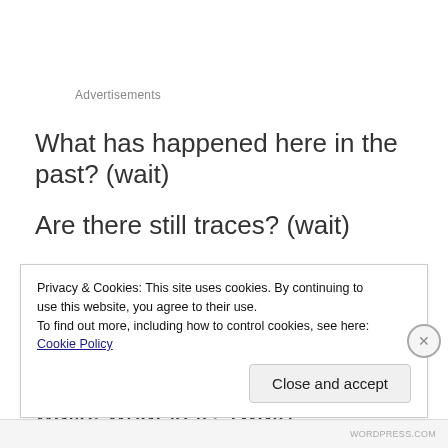Advertisements
What has happened here in the past? (wait)
Are there still traces? (wait)
(breathe, don't speak)
Something hangs on one of the walls, what is it? (wait)
Privacy & Cookies: This site uses cookies. By continuing to use this website, you agree to their use.
To find out more, including how to control cookies, see here: Cookie Policy
Close and accept